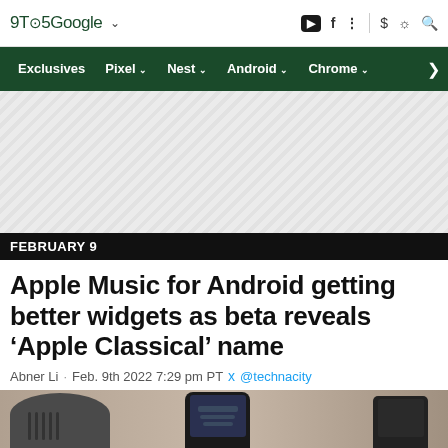9TO5Google
Exclusives | Pixel | Nest | Android | Chrome
[Figure (other): Advertisement placeholder with hatched gray background]
FEBRUARY 9
Apple Music for Android getting better widgets as beta reveals ‘Apple Classical’ name
Abner Li · Feb. 9th 2022 7:29 pm PT @technacity
[Figure (photo): Bottom portion of photo showing a smartphone and speaker on a surface]